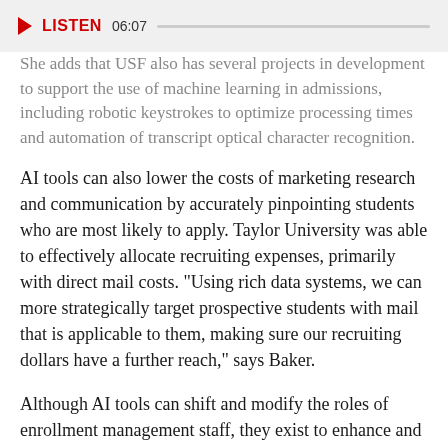LISTEN 06:07
She adds that USF also has several projects in development to support the use of machine learning in admissions, including robotic keystrokes to optimize processing times and automation of transcript optical character recognition.
AI tools can also lower the costs of marketing research and communication by accurately pinpointing students who are most likely to apply. Taylor University was able to effectively allocate recruiting expenses, primarily with direct mail costs. “Using rich data systems, we can more strategically target prospective students with mail that is applicable to them, making sure our recruiting dollars have a further reach,” says Baker.
Although AI tools can shift and modify the roles of enrollment management staff, they exist to enhance and support employees, not to replace them.